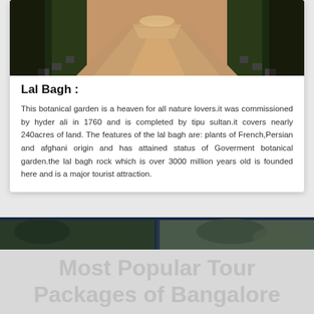[Figure (photo): Photograph of a wide road lined with trees and potted plants on both sides, perspective view going into distance]
Lal Bagh :
This botanical garden is a heaven for all nature lovers.it was commissioned by hyder ali in 1760 and is completed by tipu sultan.it covers nearly 240acres of land. The features of the lal bagh are: plants of French,Persian and afghani origin and has attained status of Goverment botanical garden.the lal bagh rock which is over 3000 million years old is founded here and is a major tourist attraction.
[Figure (photo): Dark divider strip showing partial view of outdoor scene]
Most Popular Tour Packages of Bangalore